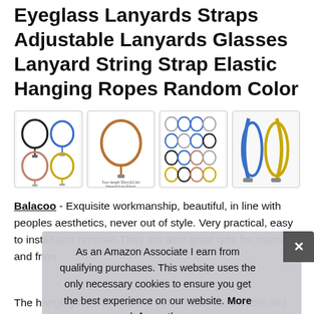Eyeglass Lanyards Straps Adjustable Lanyards Glasses Lanyard String Strap Elastic Hanging Ropes Random Color
[Figure (photo): Four product thumbnail photos of eyeglass lanyards in a row: (1) four colored loops (black, blue, rose gold, gold), (2) single orange/copper loop lanyard with text, (3) multiple small lanyard loops laid out in grid, (4) blue and yellow lanyards with clips]
Balacoo - Exquisite workmanship, beautiful, in line with peoples aesthetics, never out of style. Very practical, easy to install and remove. They are also great gifts for relatives and frien
As an Amazon Associate I earn from qualifying purchases. This website uses the only necessary cookies to ensure you get the best experience on our website. More information
The hanging rope is made of nylon material, durable and not